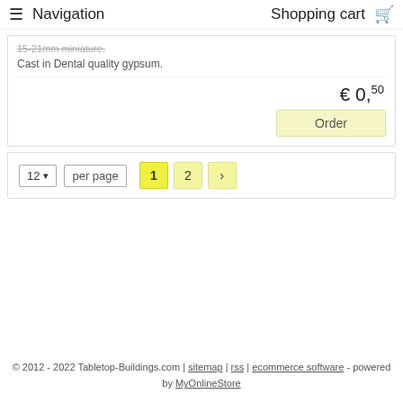Navigation  Shopping cart
15-21mm miniature.
Cast in Dental quality gypsum.
€ 0,50
Order
12  per page  1  2  ›
© 2012 - 2022 Tabletop-Buildings.com | sitemap | rss | ecommerce software - powered by MyOnlineStore